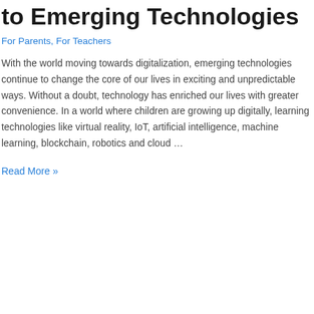to Emerging Technologies
For Parents, For Teachers
With the world moving towards digitalization, emerging technologies continue to change the core of our lives in exciting and unpredictable ways. Without a doubt, technology has enriched our lives with greater convenience. In a world where children are growing up digitally, learning technologies like virtual reality, IoT, artificial intelligence, machine learning, blockchain, robotics and cloud …
Read More »